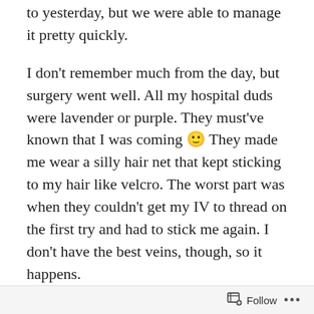to yesterday, but we were able to manage it pretty quickly.
I don't remember much from the day, but surgery went well. All my hospital duds were lavender or purple. They must've known that I was coming 🙂 They made me wear a silly hair net that kept sticking to my hair like velcro. The worst part was when they couldn't get my IV to thread on the first try and had to stick me again. I don't have the best veins, though, so it happens.
I was surprised to see a crucifix in each room and then realized the hospital was St. Joseph's. I'm not into those, but I did appreciate the prayer they said over the loudspeaker last night and this morning.
Jonathan, my mom and my sister Christine were there
Follow ...